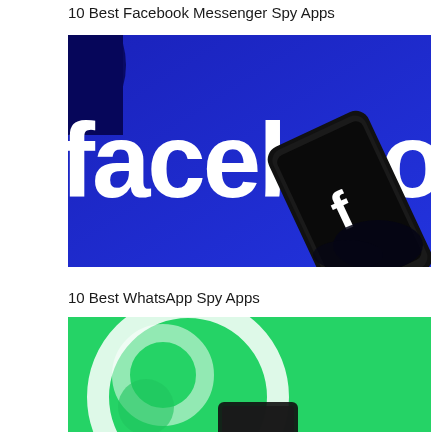10 Best Facebook Messenger Spy Apps
[Figure (photo): Dark blue background with large white 'faceboo' text (Facebook logo partial) and a hand holding a smartphone with Facebook icon visible]
10 Best WhatsApp Spy Apps
[Figure (photo): Bright green background with WhatsApp logo arc/circle design and a smartphone visible at the bottom]